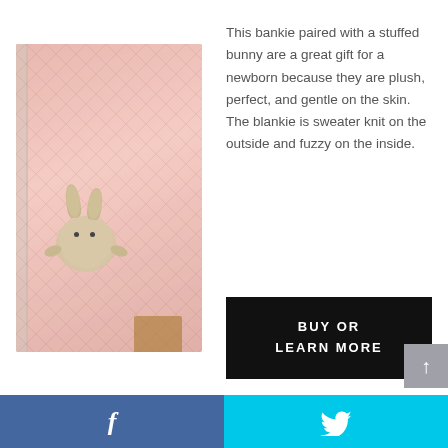[Figure (photo): A pink quilted blanket (bankie) with a stuffed beige bunny toy placed on top of it, sitting in or near a baby crib with white wood slats visible in the background. There is also a brown paper-wrapped gift visible at the bottom.]
This bankie paired with a stuffed bunny are a great gift for a newborn because they are plush, perfect, and gentle on the skin. The blankie is sweater knit on the outside and fuzzy on the inside.
BUY OR
LEARN MORE
f  [twitter bird icon]